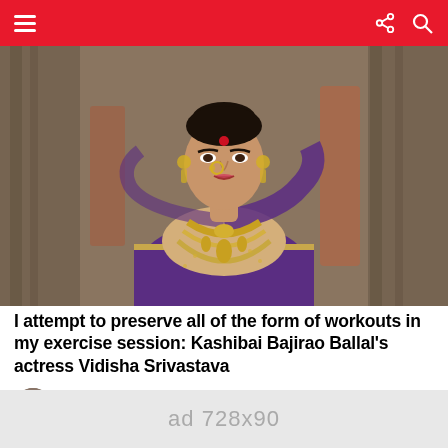Navigation bar with hamburger menu, share and search icons
[Figure (photo): Woman dressed in traditional Indian attire — a purple and gold silk saree with heavy gold jewelry including layered necklaces and earrings, red bindi on forehead, nose ring, hair tied in a bun, against a blurred indoor background.]
I attempt to preserve all of the form of workouts in my exercise session: Kashibai Bajirao Ballal's actress Vidisha Srivastava
by VK Team
8 months ago